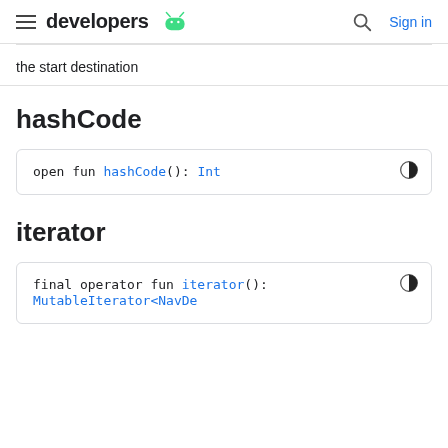developers  Sign in
the start destination
hashCode
open fun hashCode(): Int
iterator
final operator fun iterator(): MutableIterator<NavDe